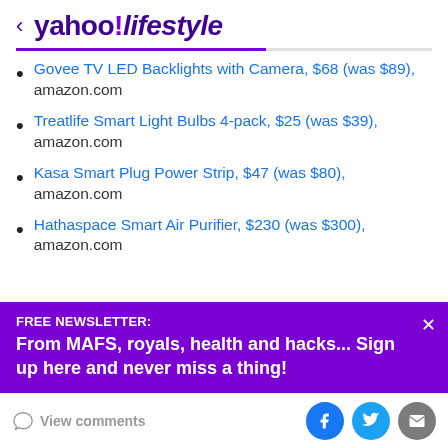yahoo!lifestyle
Govee TV LED Backlights with Camera, $68 (was $89), amazon.com
Treatlife Smart Light Bulbs 4-pack, $25 (was $39), amazon.com
Kasa Smart Plug Power Strip, $47 (was $80), amazon.com
Hathaspace Smart Air Purifier, $230 (was $300), amazon.com
FREE NEWSLETTER:
From MAFS, royals, health and hacks... Sign up here and never miss a thing!
View comments